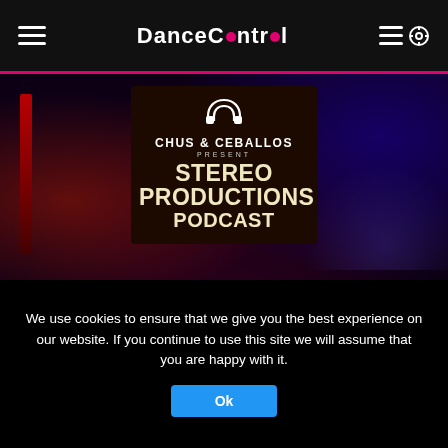DanceControl
[Figure (photo): Club scene background with two DJs/artists photographed in orange lighting, overlaid with the Chus & Ceballos Stereo Productions Podcast logo/cover art showing a headphones icon and bold white text on dark background]
Chus & Ceballos – Stereo Productions 285 (Live @ Stereo Montreal Day 1) –
House
We use cookies to ensure that we give you the best experience on our website. If you continue to use this site we will assume that you are happy with it.